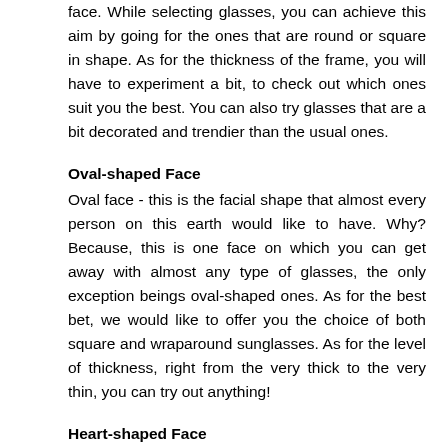face. While selecting glasses, you can achieve this aim by going for the ones that are round or square in shape. As for the thickness of the frame, you will have to experiment a bit, to check out which ones suit you the best. You can also try glasses that are a bit decorated and trendier than the usual ones.
Oval-shaped Face
Oval face - this is the facial shape that almost every person on this earth would like to have. Why? Because, this is one face on which you can get away with almost any type of glasses, the only exception beings oval-shaped ones. As for the best bet, we would like to offer you the choice of both square and wraparound sunglasses. As for the level of thickness, right from the very thick to the very thin, you can try out anything!
Heart-shaped Face
While choosing glasses, another tricky facial shape that you can come across is the heart-shape. Here, you main aim would be to soften up the chin, while moving the